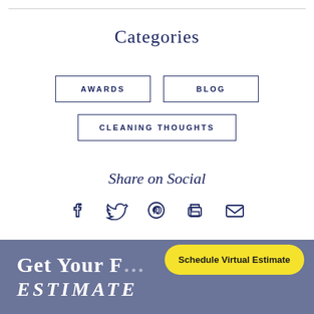Categories
AWARDS
BLOG
CLEANING THOUGHTS
Share on Social
[Figure (infographic): Social sharing icons: Facebook, Twitter, Pinterest, Print, Email]
Get Your E... ESTIMATE
Schedule Virtual Estimate